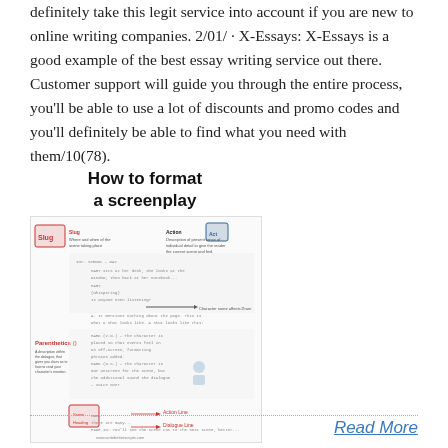definitely take this legit service into account if you are new to online writing companies. 2/01/ · X-Essays: X-Essays is a good example of the best essay writing service out there. Customer support will guide you through the entire process, you'll be able to use a lot of discounts and promo codes and you'll definitely be able to find what you need with them/10(78).
[Figure (infographic): Infographic titled 'How to format a screenplay' showing a annotated screenplay layout with labels for Slug, Action, Parenthetics, and other screenplay formatting elements. Website watermark: www.writebetterscripts.com]
Read More